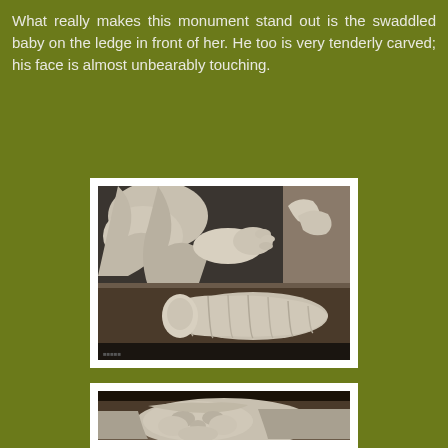What really makes this monument stand out is the swaddled baby on the ledge in front of her. He too is very tenderly carved; his face is almost unbearably touching.
[Figure (photo): Photograph of a marble monument carving showing a swaddled baby lying on a ledge, with draped figures above. The upper portion shows carved drapery and a hand, the lower portion shows the swaddled infant in white marble.]
[Figure (photo): Close-up photograph of the carved face of the swaddled baby on the marble monument, showing detailed facial features.]